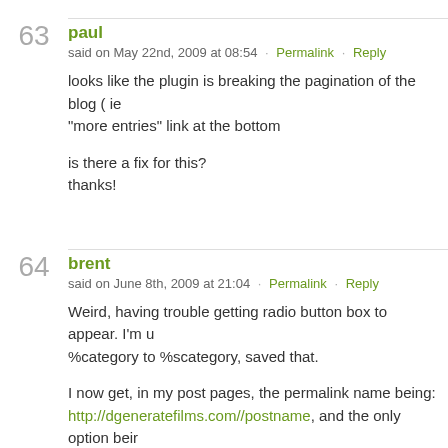63
paul
said on May 22nd, 2009 at 08:54 · Permalink · Reply
looks like the plugin is breaking the pagination of the blog ( ie “more entries” link at the bottom
is there a fix for this?
thanks!
64
brent
said on June 8th, 2009 at 21:04 · Permalink · Reply
Weird, having trouble getting radio button box to appear. I'm u %category to %scategory, saved that.
I now get, in my post pages, the permalink name being: http://dgeneratefilms.com//postname, and the only option beir 2.7.1.